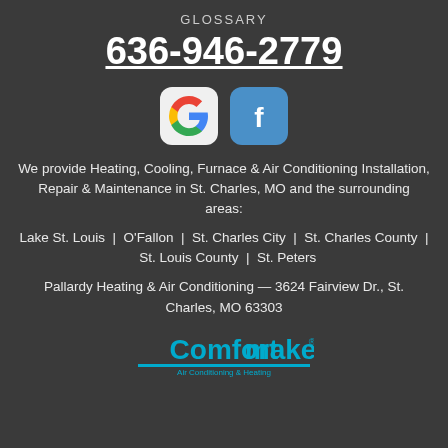GLOSSARY
636-946-2779
[Figure (logo): Google and Facebook social media icons side by side]
We provide Heating, Cooling, Furnace & Air Conditioning Installation, Repair & Maintenance in St. Charles, MO and the surrounding areas:
Lake St. Louis  |  O'Fallon  |  St. Charles City  |  St. Charles County  |  St. Louis County  |  St. Peters
Pallardy Heating & Air Conditioning — 3624 Fairview Dr., St. Charles, MO 63303
[Figure (logo): Comfortmaker Air Conditioning & Heating logo]